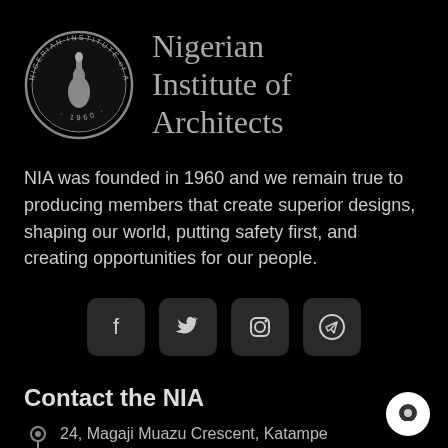[Figure (logo): Nigerian Institute of Architects seal logo (circular, 1960) alongside organization name text]
NIA was founded in 1960 and we remain true to producing members that create superior designs, shaping our world, putting safety first, and creating opportunities for our people.
[Figure (infographic): Four social media icon buttons: Facebook, Twitter, Instagram, Telegram]
Contact the NIA
24, Magaji Muazu Crescent, Katampe Extension, FCT, Abuja, Nigeria